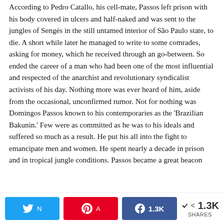According to Pedro Catallo, his cell-mate, Passos left prison with his body covered in ulcers and half-naked and was sent to the jungles of Sengés in the still untamed interior of São Paulo state, to die. A short while later he managed to write to some comrades, asking for money, which he received through an go-between. So ended the career of a man who had been one of the most influential and respected of the anarchist and revolutionary syndicalist activists of his day. Nothing more was ever heard of him, aside from the occasional, unconfirmed rumor. Not for nothing was Domingos Passos known to his contemporaries as the 'Brazilian Bakunin.' Few were as committed as he was to his ideals and suffered so much as a result. He put his all into the fight to emancipate men and women. He spent nearly a decade in prison and in tropical jungle conditions. Passos became a great beacon
[Figure (infographic): Social share bar with Twitter, Pinterest, Facebook (1.3K shares) buttons and a total share count of 1.3K SHARES]